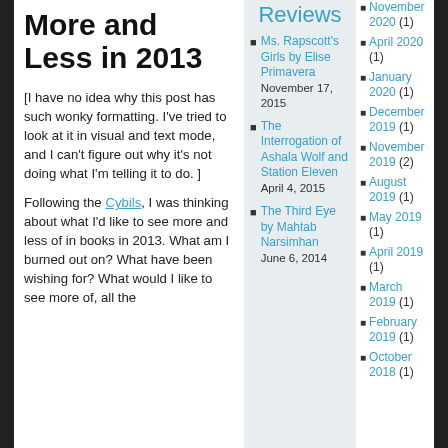More and Less in 2013
[I have no idea why this post has such wonky formatting. I’ve tried to look at it in visual and text mode, and I can’t figure out why it’s not doing what I’m telling it to do. ]
Following the Cybils, I was thinking about what I’d like to see more and less of in books in 2013. What am I burned out on? What have been wishing for? What would I like to see more of, all the
Reviews
Ms. Rapscott’s Girls by Elise Primavera
November 17, 2015
The Interrogation of Ashala Wolf and Station Eleven
April 4, 2015
The Third Eye by Mahtab Narsimhan
June 6, 2014
November 2020 (1)
April 2020 (1)
January 2020 (1)
December 2019 (1)
November 2019 (2)
August 2019 (1)
May 2019 (1)
April 2019 (1)
March 2019 (1)
February 2019 (1)
October 2018 (1)